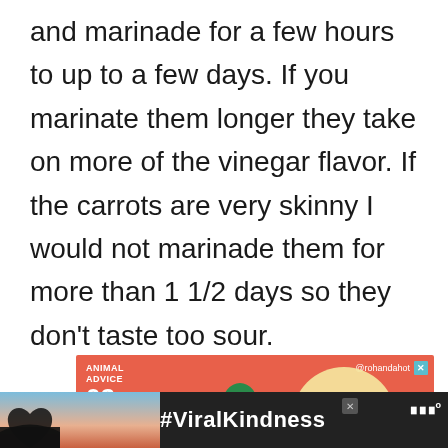and marinade for a few hours to up to a few days. If you marinate them longer they take on more of the vinegar flavor. If the carrots are very skinny I would not marinade them for more than 1 1/2 days so they don't taste too sour.
[Figure (screenshot): Orange advertisement banner for 'Animal Advice 02' with illustrated nature scene and @rohandahot handle, with close button]
[Figure (screenshot): Dark bottom bar advertisement showing #ViralKindness with heart hands silhouette on sunset background and close button]